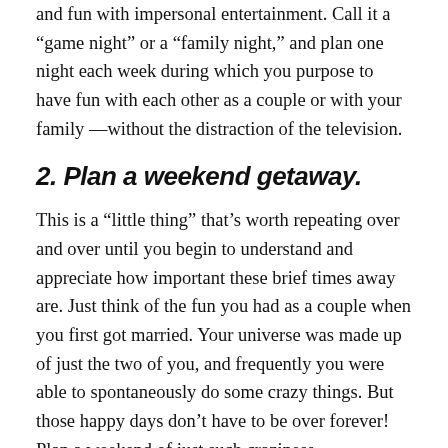and fun with impersonal entertainment. Call it a “game night” or a “family night,” and plan one night each week during which you purpose to have fun with each other as a couple or with your family —without the distraction of the television.
2. Plan a weekend getaway.
This is a “little thing” that’s worth repeating over and over until you begin to understand and appreciate how important these brief times away are. Just think of the fun you had as a couple when you first got married. Your universe was made up of just the two of you, and frequently you were able to spontaneously do some crazy things. But those happy days don’t have to be over forever! Plan a weekend of just such craziness.